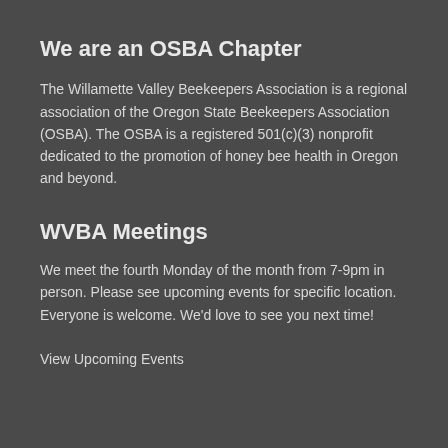We are an OSBA Chapter
The Willamette Valley Beekeepers Association is a regional association of the Oregon State Beekeepers Association (OSBA). The OSBA is a registered 501(c)(3) nonprofit dedicated to the promotion of honey bee health in Oregon and beyond.
WVBA Meetings
We meet the fourth Monday of the month from 7-9pm in person. Please see upcoming events for specific location. Everyone is welcome. We'd love to see you next time!
View Upcoming Events